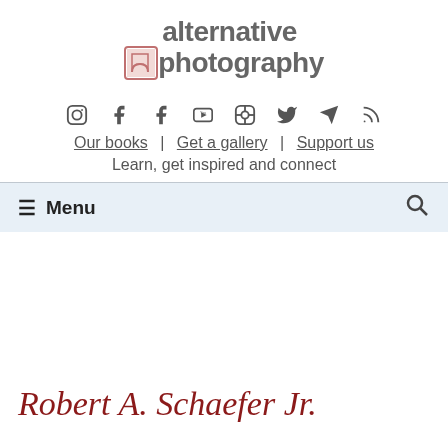[Figure (logo): Alternative Photography logo: 'alternative' text on top, camera icon followed by 'photography' text below, in gray with a pinkish-red square camera icon]
[Figure (infographic): Row of social media icons: Instagram, Facebook, Facebook, YouTube, Pinterest, Twitter, Telegram, RSS]
Our books | Get a gallery | Support us
Learn, get inspired and connect
≡ Menu
Robert A. Schaefer Jr.